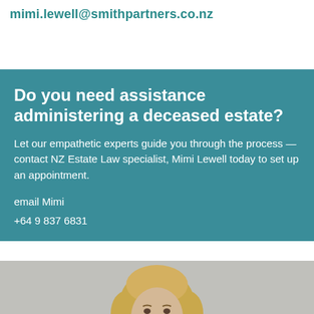mimi.lewell@smithpartners.co.nz
Do you need assistance administering a deceased estate?
Let our empathetic experts guide you through the process — contact NZ Estate Law specialist, Mimi Lewell today to set up an appointment.
email Mimi
+64 9 837 6831
[Figure (photo): Portrait photo of Mimi Lewell, a woman with blonde hair, shown from shoulders up against a grey background.]